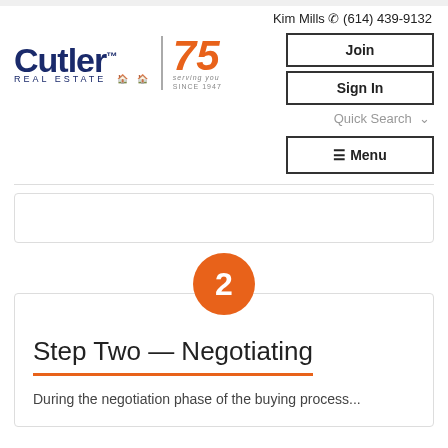Kim Mills ☏ (614) 439-9132
[Figure (logo): Cutler Real Estate logo with 75th anniversary badge]
Join
Sign In
Quick Search
≡ Menu
[Figure (other): Orange circle with number 2 indicating Step Two]
Step Two — Negotiating
During the negotiation phase of the buying process...